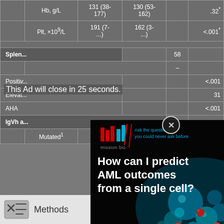|  | Col1 | Col2 | Col3 | Col4 | p |
| --- | --- | --- | --- | --- | --- |
| Hb, g/L | 131 (38-177) | 130 (53-162) |  | .32* |
| Plt, ×10⁹/L | 191 (7-... | 162 (3-...) |  | <.001* |
| Spleno... |  |  | 58 |  |
|  |  |  |  | – |
| Positi... |  |  |  | <.001 |
| Elevat... |  |  |  | 31 |
| AHA |  |  |  | <.001 |
| IgVh a... |  |  |  |  |
|  | Mutated¹ | 93 | 54 | 5 | 18 | <.001 |
[Figure (other): Advertisement overlay: Mission Bio ad asking 'How can I predict AML outcomes from a single cell?' with teal and red cell imagery on dark background. Ad countdown notice reads 'This Ad will close in 25 seconds.']
This Ad will close in 25 seconds.
Methods